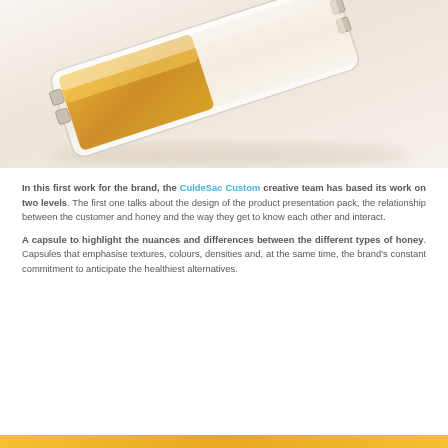[Figure (photo): Close-up photo of a honey capsule/dispenser with transparent acrylic casing, amber/golden honey visible inside, lying on a white surface casting a soft shadow.]
In this first work for the brand, the CuldeSac Custom creative team has based its work on two levels. The first one talks about the design of the product presentation pack, the relationship between the customer and honey and the way they get to know each other and interact.
A capsule to highlight the nuances and differences between the different types of honey. Capsules that emphasise textures, colours, densities and, at the same time, the brand's constant commitment to anticipate the healthiest alternatives.